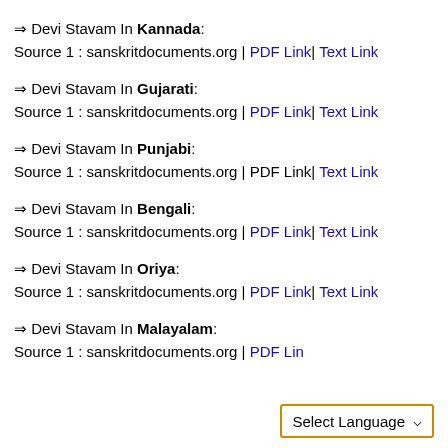⇒ Devi Stavam In Kannada:
Source 1 : sanskritdocuments.org | PDF Link| Text Link
⇒ Devi Stavam In Gujarati:
Source 1 : sanskritdocuments.org | PDF Link| Text Link
⇒ Devi Stavam In Punjabi:
Source 1 : sanskritdocuments.org | PDF Link| Text Link
⇒ Devi Stavam In Bengali:
Source 1 : sanskritdocuments.org | PDF Link| Text Link
⇒ Devi Stavam In Oriya:
Source 1 : sanskritdocuments.org | PDF Link| Text Link
⇒ Devi Stavam In Malayalam:
Source 1 : sanskritdocuments.org | PDF Link
Select Language